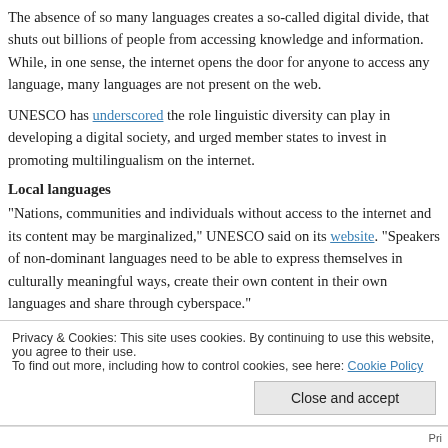The absence of so many languages creates a so-called digital divide, that shuts out billions of people from accessing knowledge and information. While, in one sense, the internet opens the door for anyone to access any language, many languages are not present on the web.
UNESCO has underscored the role linguistic diversity can play in developing a digital society, and urged member states to invest in promoting multilingualism on the internet.
Local languages
“Nations, communities and individuals without access to the internet and its content may be marginalized,” UNESCO said on its website. “Speakers of non-dominant languages need to be able to express themselves in culturally meaningful ways, create their own content in their own languages and share through cyberspace.”
Still, change may be coming, since part of the reason the internet is so English-heavy comes down to legacy: The internet was created by an Englishman, Tim Berne–
Privacy & Cookies: This site uses cookies. By continuing to use this website, you agree to their use.
To find out more, including how to control cookies, see here: Cookie Policy
Close and accept